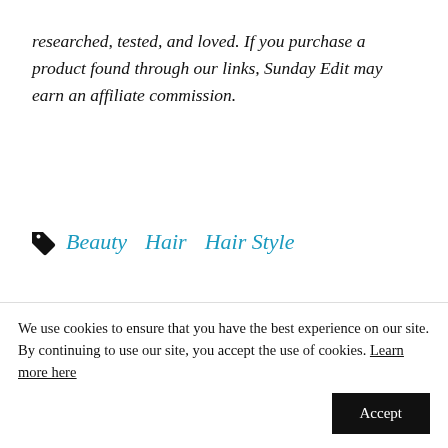researched, tested, and loved. If you purchase a product found through our links, Sunday Edit may earn an affiliate commission.
Beauty   Hair   Hair Style
[Figure (other): Advertisement banner with golden/orange background showing a lemon slice with oil drop and bold text 'FIRMING. PLUMPING.']
We use cookies to ensure that you have the best experience on our site. By continuing to use our site, you accept the use of cookies. Learn more here